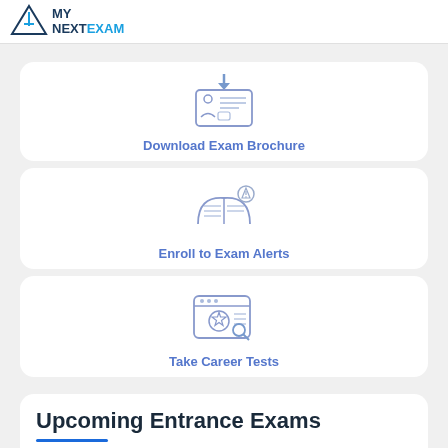MY NEXTEXAM
[Figure (illustration): Blue icon of an ID card/exam brochure with a download arrow and two small person icons]
Download Exam Brochure
[Figure (illustration): Blue icon of an open book with a search/alert symbol and a chemistry flask]
Enroll to Exam Alerts
[Figure (illustration): Blue icon of a browser window with a magnifying glass and star/badge symbol]
Take Career Tests
Upcoming Entrance Exams
Institutes conduct entrance exams for